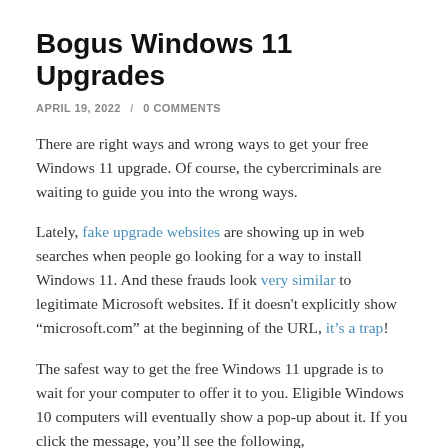Bogus Windows 11 Upgrades
APRIL 19, 2022 / 0 COMMENTS
There are right ways and wrong ways to get your free Windows 11 upgrade. Of course, the cybercriminals are waiting to guide you into the wrong ways.
Lately, fake upgrade websites are showing up in web searches when people go looking for a way to install Windows 11. And these frauds look very similar to legitimate Microsoft websites. If it doesn't explicitly show “microsoft.com” at the beginning of the URL, it’s a trap!
The safest way to get the free Windows 11 upgrade is to wait for your computer to offer it to you. Eligible Windows 10 computers will eventually show a pop-up about it. If you click the message, you’ll see the following,